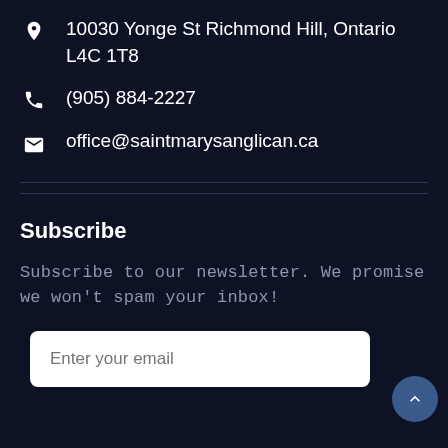10030 Yonge St Richmond Hill, Ontario L4C 1T8
(905) 884-2227
office@saintmarysanglican.ca
Subscribe
Subscribe to our newsletter. We promise we won't spam your inbox!
Enter your email